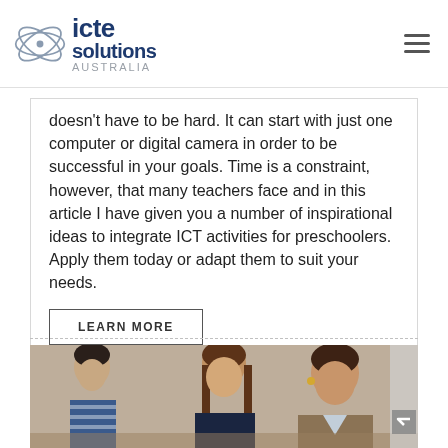icte solutions AUSTRALIA
doesn't have to be hard. It can start with just one computer or digital camera in order to be successful in your goals. Time is a constraint, however, that many teachers face and in this article I have given you a number of inspirational ideas to integrate ICT activities for preschoolers. Apply them today or adapt them to suit your needs.
LEARN MORE
[Figure (photo): A teacher leaning over to assist two young students working at a desk in a classroom setting.]